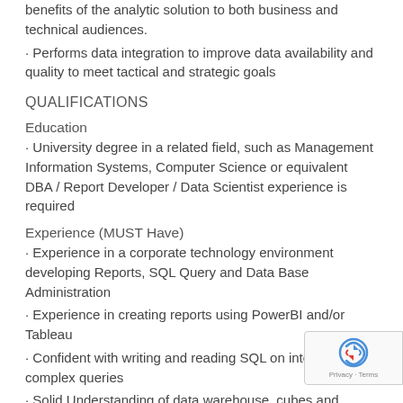· benefits of the analytic solution to both business and technical audiences.
· Performs data integration to improve data availability and quality to meet tactical and strategic goals
QUALIFICATIONS
Education
· University degree in a related field, such as Management Information Systems, Computer Science or equivalent DBA / Report Developer / Data Scientist experience is required
Experience (MUST Have)
· Experience in a corporate technology environment developing Reports, SQL Query and Data Base Administration
· Experience in creating reports using PowerBI and/or Tableau
· Confident with writing and reading SQL on interm to complex queries
· Solid Understanding of data warehouse, cubes and